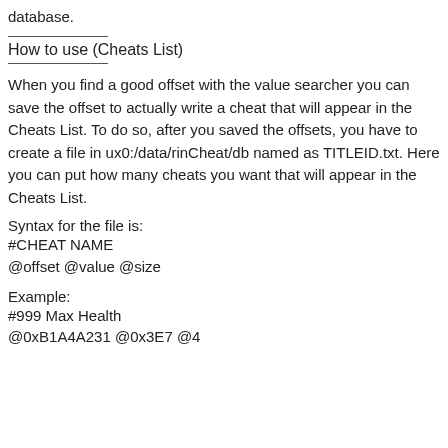database.
How to use (Cheats List)
When you find a good offset with the value searcher you can save the offset to actually write a cheat that will appear in the Cheats List. To do so, after you saved the offsets, you have to create a file in ux0:/data/rinCheat/db named as TITLEID.txt. Here you can put how many cheats you want that will appear in the Cheats List.
Syntax for the file is:
#CHEAT NAME
@offset @value @size
Example:
#999 Max Health
@0xB1A4A231 @0x3E7 @4